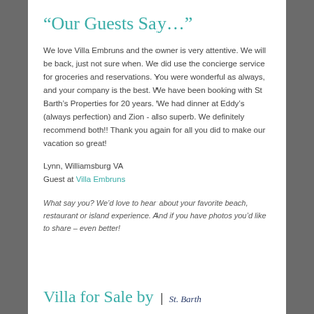“Our Guests Say…”
We love Villa Embruns and the owner is very attentive. We will be back, just not sure when. We did use the concierge service for groceries and reservations. You were wonderful as always, and your company is the best. We have been booking with St Barth’s Properties for 20 years. We had dinner at Eddy’s (always perfection) and Zion - also superb. We definitely recommend both!! Thank you again for all you did to make our vacation so great!
Lynn, Williamsburg VA
Guest at Villa Embruns
What say you? We’d love to hear about your favorite beach, restaurant or island experience. And if you have photos you’d like to share – even better!
Villa for Sale by